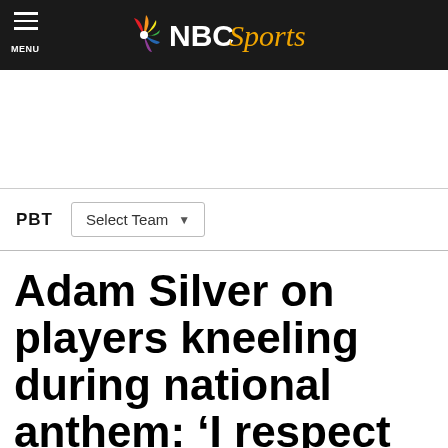NBC Sports
PBT | Select Team
Adam Silver on players kneeling during national anthem: 'I respect peaceful protest'